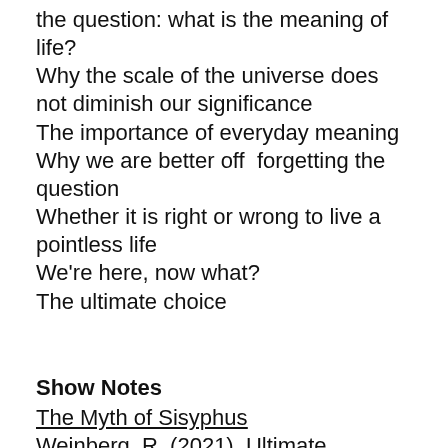the question: what is the meaning of life?
Why the scale of the universe does not diminish our significance
The importance of everyday meaning
Why we are better off  forgetting the question
Whether it is right or wrong to live a pointless life
We're here, now what?
The ultimate choice
Show Notes
The Myth of Sisyphus
Weinberg, R. (2021). Ultimate Meaning: We don't have it, we can't get it, and we should be very, very sad. Journal of controversial